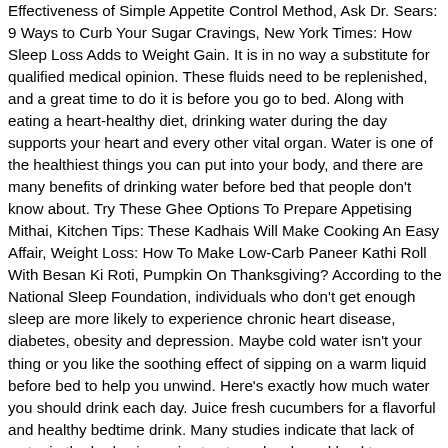Effectiveness of Simple Appetite Control Method, Ask Dr. Sears: 9 Ways to Curb Your Sugar Cravings, New York Times: How Sleep Loss Adds to Weight Gain. It is in no way a substitute for qualified medical opinion. These fluids need to be replenished, and a great time to do it is before you go to bed. Along with eating a heart-healthy diet, drinking water during the day supports your heart and every other vital organ. Water is one of the healthiest things you can put into your body, and there are many benefits of drinking water before bed that people don't know about. Try These Ghee Options To Prepare Appetising Mithai, Kitchen Tips: These Kadhais Will Make Cooking An Easy Affair, Weight Loss: How To Make Low-Carb Paneer Kathi Roll With Besan Ki Roti, Pumpkin On Thanksgiving? According to the National Sleep Foundation, individuals who don't get enough sleep are more likely to experience chronic heart disease, diabetes, obesity and depression. Maybe cold water isn't your thing or you like the soothing effect of sipping on a warm liquid before bed to help you unwind. Here's exactly how much water you should drink each day. Juice fresh cucumbers for a flavorful and healthy bedtime drink. Many studies indicate that lack of water in the body give a rise to stress levels and lead to depression. , Hot water dissolves unwanted food in the digestive tract and leads to better digestion. If you're thirsty at bedtime, that means that your body needs water, so go ahead and pour yourself a glass before turning in for the night. Skin Rejuvenation: The antioxidants in lemon water can help fight